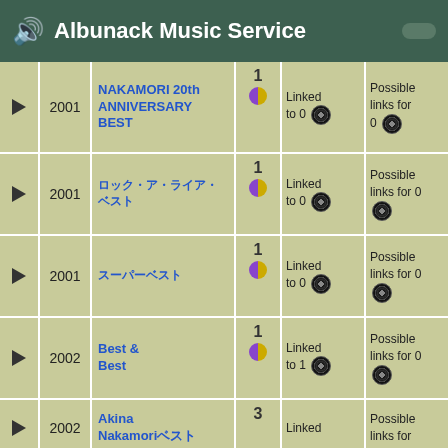Albunack Music Service
|  | Year | Title | Num | Linked | Possible links | Additional |
| --- | --- | --- | --- | --- | --- | --- |
| ▶ | 2001 | NAKAMORI 20th ANNIVERSARY BEST | 1 | Linked to 0 | Possible links for 0 | Additional 1 |
| ▶ | 2001 | (Japanese chars) | 1 | Linked to 0 | Possible links for 0 | Additional 0 |
| ▶ | 2001 | (Japanese chars) | 1 | Linked to 0 | Possible links for 0 | Additional 0 |
| ▶ | 2002 | Best & Best | 1 | Linked to 1 | Possible links for 0 | Additional 0 |
| ▶ | 2002 | Akina Nakamori (Japanese chars) | 3 | Linked | Possible links for | Additional |